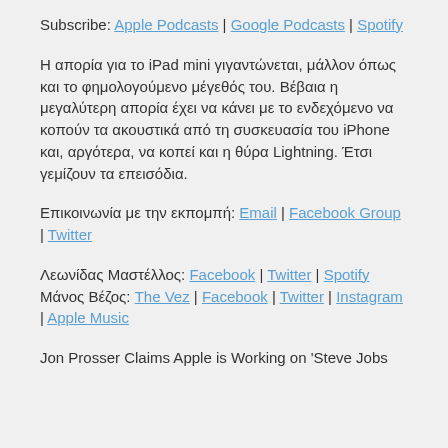Subscribe: Apple Podcasts | Google Podcasts | Spotify
Η απορία για το iPad mini γιγαντώνεται, μάλλον όπως και το φημολογούμενο μέγεθός του. Βέβαια η μεγαλύτερη απορία έχει να κάνει με το ενδεχόμενο να κοπούν τα ακουστικά από τη συσκευασία του iPhone και, αργότερα, να κοπεί και η θύρα Lightning. Έτσι γεμίζουν τα επεισόδια.
Επικοινωνία με την εκπομπή: Email | Facebook Group | Twitter
Λεωνίδας Μαστέλλος: Facebook | Twitter | Spotify
Μάνος Βέζος: The Vez | Facebook | Twitter | Instagram | Apple Music
Jon Prosser Claims Apple is Working on 'Steve Jobs